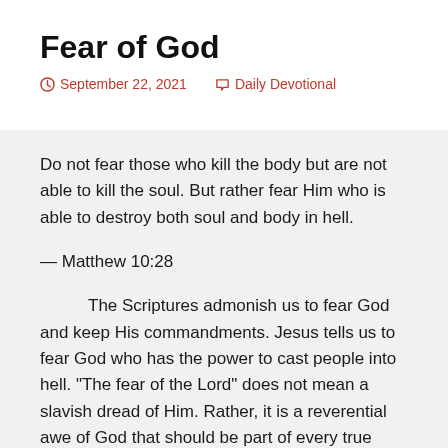Fear of God
September 22, 2021   Daily Devotional
Do not fear those who kill the body but are not able to kill the soul. But rather fear Him who is able to destroy both soul and body in hell.
— Matthew 10:28
The Scriptures admonish us to fear God and keep His commandments. Jesus tells us to fear God who has the power to cast people into hell. “The fear of the Lord” does not mean a slavish dread of Him. Rather, it is a reverential awe of God that should be part of every true believer’s faith in the living God. We believe in the Great, in the Mighty, in the Terrible, in the August, in the All-powerful God of this universe.